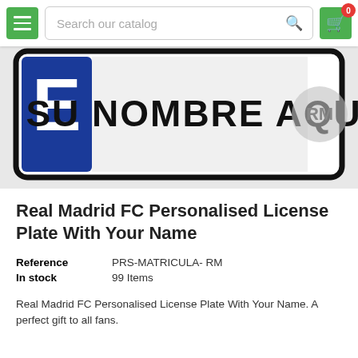[Figure (screenshot): E-commerce website navigation bar with green hamburger menu button, search bar reading 'Search our catalog', and green shopping cart button with red badge showing 0]
[Figure (photo): Real Madrid FC personalised license plate showing 'SU NOMBRE AQUI' (Your Name Here) in Spanish with the letter E on a blue background and the Real Madrid crest]
Real Madrid FC Personalised License Plate With Your Name
| Reference | PRS-MATRICULA- RM |
| In stock | 99 Items |
Real Madrid FC Personalised License Plate With Your Name. A perfect gift to all fans.